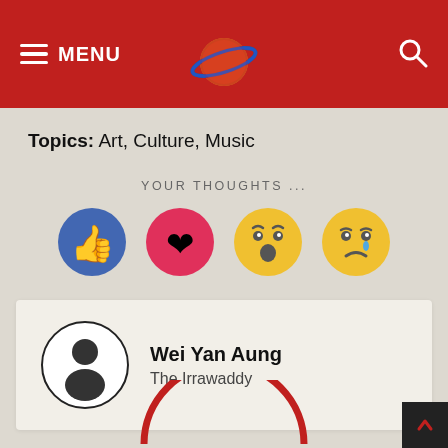MENU
Topics: Art, Culture, Music
YOUR THOUGHTS ...
[Figure (infographic): Four reaction emoji buttons: thumbs up (blue), heart (pink/red), wow face (yellow), sad face (yellow with tear)]
Wei Yan Aung
The Irrawaddy